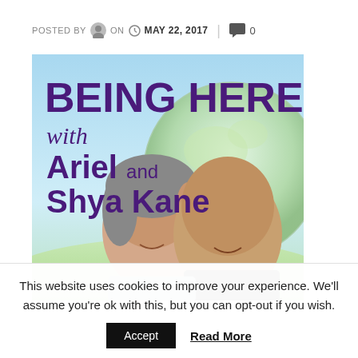POSTED BY  ON  MAY 22, 2017  |  0
[Figure (photo): Being Here with Ariel and Shya Kane podcast promotional image showing two smiling adults (a woman with short grey hair and a man) against a sky background with a globe graphic. Text overlay reads 'BEING HERE with Ariel and Shya Kane' in purple and dark purple bold fonts.]
This website uses cookies to improve your experience. We'll assume you're ok with this, but you can opt-out if you wish.
Accept  Read More